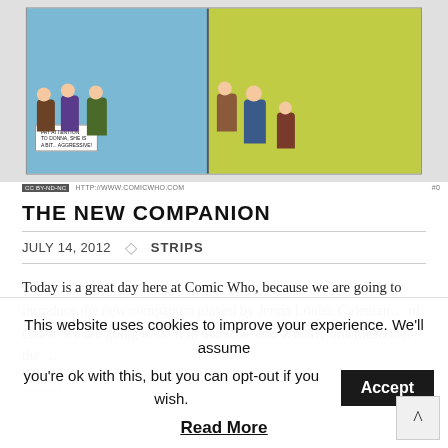[Figure (illustration): Comic strip panels showing cartoon Doctor Who characters. Left panel has blue background with characters and speech bubble saying 'Pay attention to Donna, she is a bit... aggressive!'. Right panel has yellow-green background with more characters.]
HTTP://WWW.COMICWHO.COM
THE NEW COMPANION
JULY 14, 2012   ◇   STRIPS
Today is a great day here at Comic Who, because we are going to introduce the new companion played by Jenna Louise Coleman… of course we are going to do it in our style and actually this mean that the …
This website uses cookies to improve your experience. We'll assume you're ok with this, but you can opt-out if you wish.
Read More